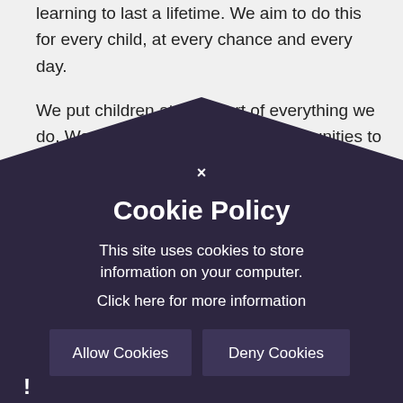learning to last a lifetime. We aim to do this for every child, at every chance and every day.
We put children at the heart of everything we do. We aim for our curriculum opportunities to foster self-confidence and promote self-belief. We capture children's energy and enthusiasm, encouraging creativity of thought, nurturing curiosity, interest and independence. Adults aim to inspire children so that we can all thrive and can aspire to be lifelong learners and the very best we can be. We all strive to be an inclusive, safe and caring community where each member is respected, nurtured and valued.
Our...
...trusted partners in ... knowledge, skills ... attitudes, with polite and self-reliance to make
[Figure (other): Cookie Policy modal popup overlay with dark purple pentagonal shape. Contains a close button (×), title 'Cookie Policy', body text 'This site uses cookies to store information on your computer. Click here for more information', and two buttons: 'Allow Cookies' and 'Deny Cookies'. A warning icon (!) appears at bottom left.]